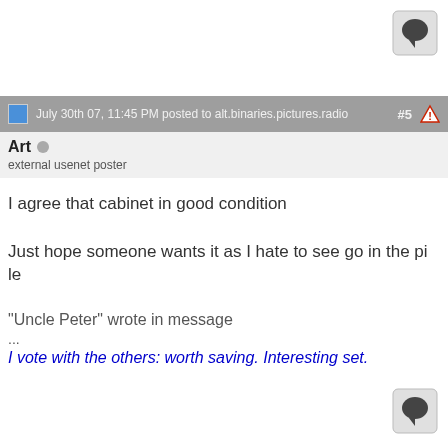[Figure (other): Speech bubble / comment icon at top right]
July 30th 07, 11:45 PM posted to alt.binaries.pictures.radio #5
Art
external usenet poster
I agree that cabinet in good condition

Just hope someone wants it as I hate to see go in the pile
"Uncle Peter" wrote in message
...
I vote with the others: worth saving. Interesting set.
[Figure (other): Speech bubble / comment icon at bottom right]